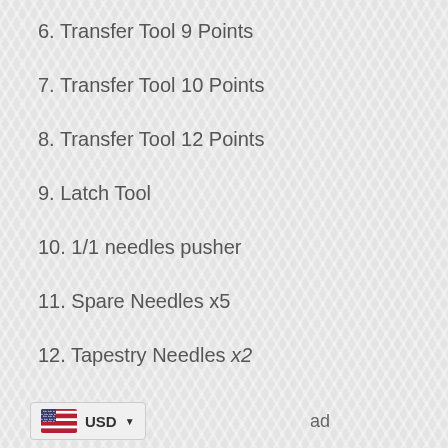6. Transfer Tool 9 Points
7. Transfer Tool 10 Points
8. Transfer Tool 12 Points
9. Latch Tool
10. 1/1 needles pusher
11. Spare Needles x5
12. Tapestry Needles x2
USD ▼ ad